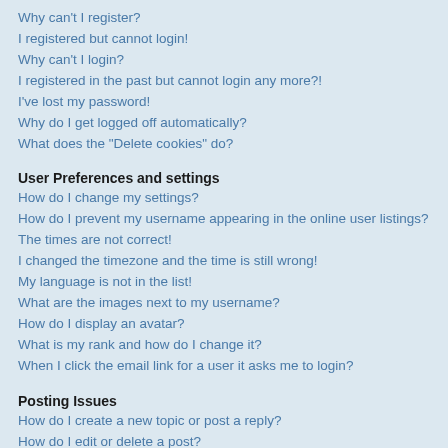Why can't I register?
I registered but cannot login!
Why can't I login?
I registered in the past but cannot login any more?!
I've lost my password!
Why do I get logged off automatically?
What does the "Delete cookies" do?
User Preferences and settings
How do I change my settings?
How do I prevent my username appearing in the online user listings?
The times are not correct!
I changed the timezone and the time is still wrong!
My language is not in the list!
What are the images next to my username?
How do I display an avatar?
What is my rank and how do I change it?
When I click the email link for a user it asks me to login?
Posting Issues
How do I create a new topic or post a reply?
How do I edit or delete a post?
How do I add a signature to my post?
How do I create a poll?
Why can't I add more poll options?
How do I edit or delete a poll?
Why can't I access a forum?
Why can't I add attachments?
Why did I receive a warning?